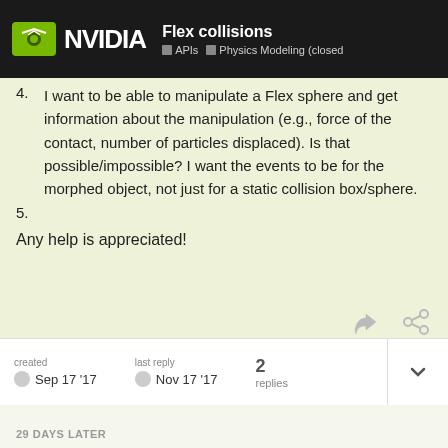Flex collisions | NVIDIA | APIs | Physics Modeling (closed)
4. I want to be able to manipulate a Flex sphere and get information about the manipulation (e.g., force of the contact, number of particles displaced). Is that possible/impossible? I want the events to be for the morphed object, not just for a static collision box/sphere.
5.
Any help is appreciated!
created Sep 17 '17 | last reply Nov 17 '17 | 2 replies
29 DAYS LATER
Edwinz_newer | 1/3